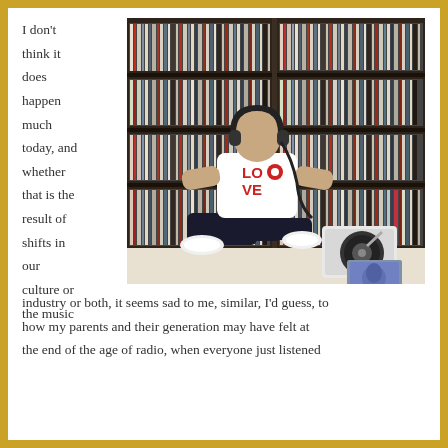I don't think it does happen much today, and whether that is the result of shifts in our culture or the music industry or both, it seems sad to me, similar, I'd guess, to how my parents and their generation may have felt at the end of the age of radio, when everyone just listened together...
[Figure (photo): A man sitting on the floor in front of a large wall of vinyl record shelves, wearing headphones and a white 'LOVE' t-shirt, with a turntable and vinyl record beside him.]